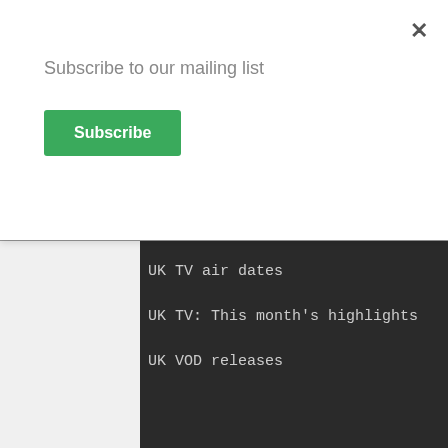Subscribe to our mailing list
Subscribe
×
Game of Thrones: How to watch online
UK TV air dates
UK TV: This month's highlights
UK VOD releases